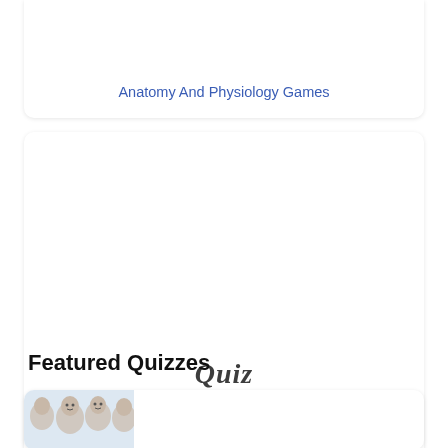Anatomy And Physiology Games
[Figure (screenshot): Card with 'Quiz' text in italic serif font centered on white background]
Anatomy And Physiology Questions - The Respiratory System
Featured Quizzes
[Figure (photo): Featured quiz card with photo of three young people against a light blue background]